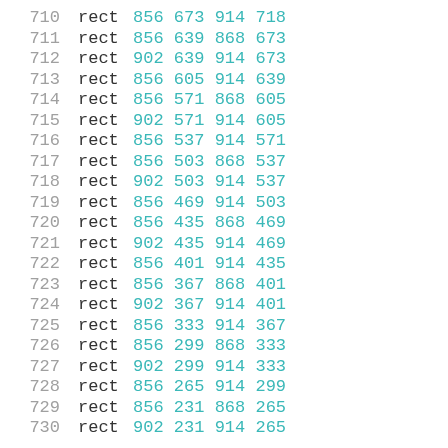710  rect 856 673 914 718
711  rect 856 639 868 673
712  rect 902 639 914 673
713  rect 856 605 914 639
714  rect 856 571 868 605
715  rect 902 571 914 605
716  rect 856 537 914 571
717  rect 856 503 868 537
718  rect 902 503 914 537
719  rect 856 469 914 503
720  rect 856 435 868 469
721  rect 902 435 914 469
722  rect 856 401 914 435
723  rect 856 367 868 401
724  rect 902 367 914 401
725  rect 856 333 914 367
726  rect 856 299 868 333
727  rect 902 299 914 333
728  rect 856 265 914 299
729  rect 856 231 868 265
730  rect 902 231 914 265